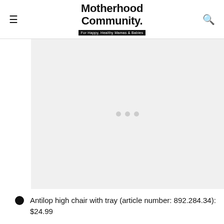Motherhood Community. For Happy, Healthy Mamas & Babies
[Figure (other): Ad placeholder area with three grey dots in the center, light grey background]
Antilop high chair with tray (article number: 892.284.34): $24.99
Antilop high chair tray: $8